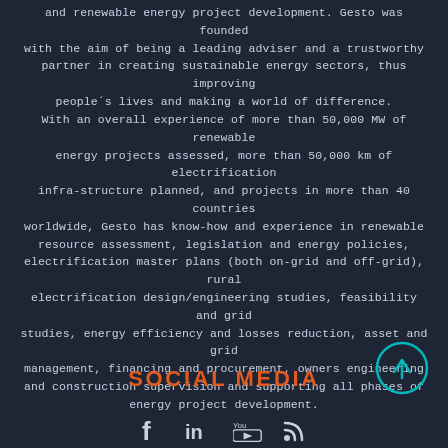and renewable energy project development. Gesto was founded with the aim of being a leading adviser and a trustworthy partner in creating sustainable energy sectors, thus improving people´s lives and making a world of difference. With an overall experience of more than 50,000 MW of renewable energy projects assessed, more than 50,000 km of electrification infra-structure planned, and projects in more than 40 countries worldwide, Gesto has know-how and experience in renewable resource assessment, legislation and energy policies, electrification master plans (both on-grid and off-grid), rural electrification design/engineering studies, feasibility and grid studies, energy efficiency and losses reduction, asset and grid management, financing and procurement, owners engineering and construction supervision and supporting all phases of energy project development.
SOCIAL MEDIA
[Figure (other): Scroll-to-top button: teal circle with upward arrow icon]
[Figure (other): Social media icons row: Facebook, LinkedIn, YouTube, RSS feed]